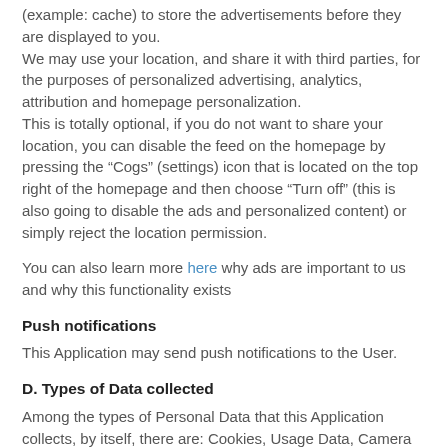(example: cache) to store the advertisements before they are displayed to you.
We may use your location, and share it with third parties, for the purposes of personalized advertising, analytics, attribution and homepage personalization.
This is totally optional, if you do not want to share your location, you can disable the feed on the homepage by pressing the "Cogs" (settings) icon that is located on the top right of the homepage and then choose "Turn off" (this is also going to disable the ads and personalized content) or simply reject the location permission.
You can also learn more here why ads are important to us and why this functionality exists
Push notifications
This Application may send push notifications to the User.
D. Types of Data collected
Among the types of Personal Data that this Application collects, by itself, there are: Cookies, Usage Data, Camera permission, Precise location permission (continuous), Approximate location permission (continuous), Microphone permission, Phone permission, Sensors permission, Storage permission and Motion sensors permission